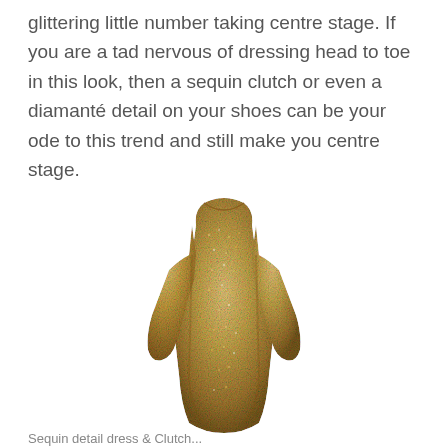glittering little number taking centre stage. If you are a tad nervous of dressing head to toe in this look, then a sequin clutch or even a diamanté detail on your shoes can be your ode to this trend and still make you centre stage.
[Figure (photo): A gold/champagne sequin long-sleeve mini dress, shown without a model on a white background.]
Sequin detail dress & Clutch...